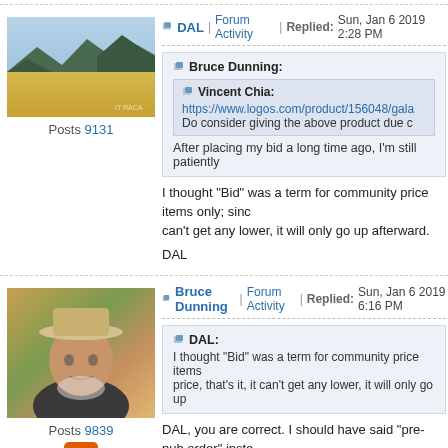Forum thread top divider
[Figure (photo): Landscape photo avatar showing mountains, water, golden light]
Posts 9131
DAL | Forum Activity | Replied: Sun, Jan 6 2019 2:28 PM
Bruce Dunning: [quote] Vincent Chia: https://www.logos.com/product/156048/gala... Do consider giving the above product due c... After placing my bid a long time ago, I'm still patiently...
I thought “Bid” was a term for community price items only; since... can’t get any lower, it will only go up afterward.
DAL
[Figure (photo): Photo of a man wearing a hat outdoors]
Posts 9839
Bruce Dunning | Forum Activity | Replied: Sun, Jan 6 2019 6:16 PM
DAL: I thought “Bid” was a term for community price items... price, that’s it, it can’t get any lower, it will only go up...
DAL, you are correct. I should have said “pre-pub order” inste...
Using adventure and community to challenge young people to cont...